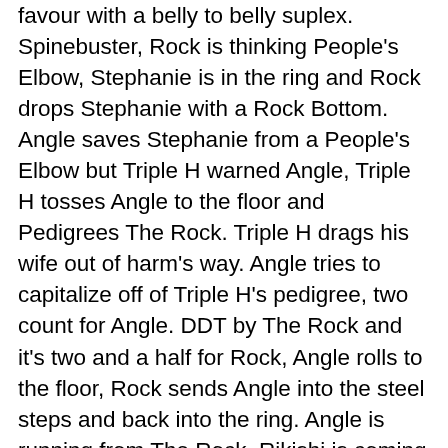favour with a belly to belly suplex. Spinebuster, Rock is thinking People's Elbow, Stephanie is in the ring and Rock drops Stephanie with a Rock Bottom. Angle saves Stephanie from a People's Elbow but Triple H warned Angle, Triple H tosses Angle to the floor and Pedigrees The Rock. Triple H drags his wife out of harm's way. Angle tries to capitalize off of Triple H's pedigree, two count for Angle. DDT by The Rock and it's two and a half for Rock, Angle rolls to the floor, Rock sends Angle into the steel steps and back into the ring. Angle is running from The Rock, Rikishi is coming out to ringside, Rikishi nails Angle helping The Rock. Angle low blows Rock, Rock Bottom by The Rock, Rock is hurt and slow to cover.
One arm cover and Angle kicks out at the very last second. Rikishi is in the ring, Angle pulls Rock in